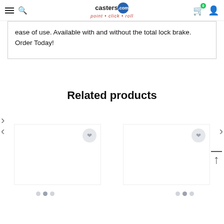casters.com — point • click • roll — navigation header
ease of use. Available with and without the total lock brake. Order Today!
Related products
[Figure (screenshot): Two product card placeholders in a related products carousel, each with a wishlist heart icon button and loading dots below. A scroll-to-top arrow icon appears on the right side.]